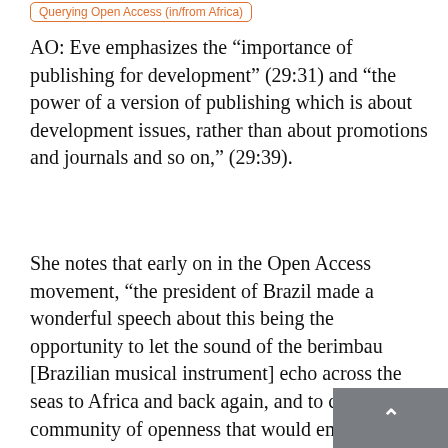Querying Open Access (in/from Africa)
AO: Eve emphasizes the "importance of publishing for development" (29:31) and “the power of a version of publishing which is about development issues, rather than about promotions and journals and so on,” (29:39).
She notes that early on in the Open Access movement, "the president of Brazil made a wonderful speech about this being the opportunity to let the sound of the berimbau [Brazilian musical instrument] echo across the seas to Africa and back again, and to create a community of openness that would empower the world and change the vision of what was going on," (13:13). She notes however that for various reasons, o... nt "didn't have at its center an... the idea of empo...rment, and the ...